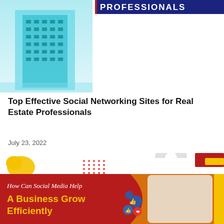[Figure (photo): Photo of a modern high-rise building with blue teal tint, city real estate context]
[Figure (illustration): Banner graphic with bold text reading PROFESSIONALS on a dark navy and red background]
Top Effective Social Networking Sites for Real Estate Professionals
July 23, 2022
[Figure (illustration): Decorative row with yellow blob shape, red dot grid pattern, grey circle arc, and dark red rectangle accent]
[Figure (infographic): Red promotional card reading 'How Can Social Media Help A Business Grow Efficiently' with yellow bold text, plus a photo of a young woman looking at social media icons including thumbs up and hearts]